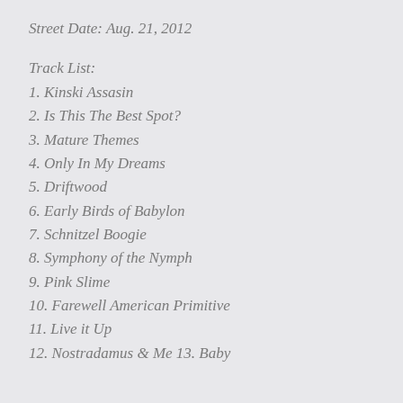Street Date: Aug. 21, 2012
Track List:
1. Kinski Assasin
2. Is This The Best Spot?
3. Mature Themes
4. Only In My Dreams
5. Driftwood
6. Early Birds of Babylon
7. Schnitzel Boogie
8. Symphony of the Nymph
9. Pink Slime
10. Farewell American Primitive
11. Live it Up
12. Nostradamus & Me 13. Baby